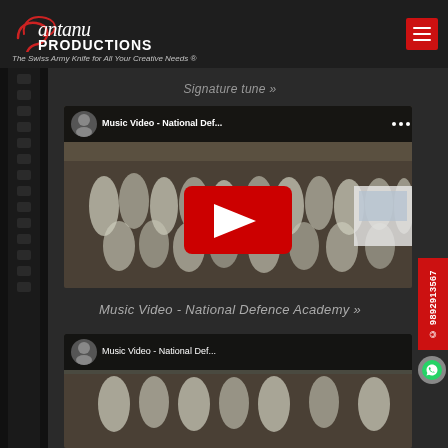Santanu Productions — The Swiss Army Knife for All Your Creative Needs ®
Signature tune »
[Figure (screenshot): YouTube video thumbnail for Music Video - National Defence Academy, showing crowd of people in white uniforms with YouTube play button overlay]
Music Video - National Defence Academy »
[Figure (screenshot): Partial YouTube video thumbnail for next video showing crowd scene]